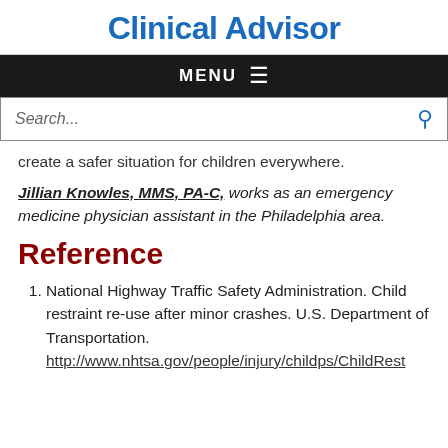Clinical Advisor
MENU
Search...
create a safer situation for children everywhere.
Jillian Knowles, MMS, PA-C, works as an emergency medicine physician assistant in the Philadelphia area.
Reference
National Highway Traffic Safety Administration. Child restraint re-use after minor crashes. U.S. Department of Transportation. http://www.nhtsa.gov/people/injury/childps/ChildRest